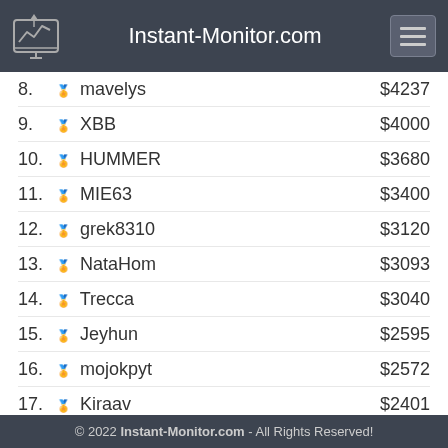Instant-Monitor.com
8.  mavelys  $4237
9.  XBB  $4000
10. HUMMER  $3680
11. MIE63  $3400
12. grek8310  $3120
13. NataHom  $3093
14. Trecca  $3040
15. Jeyhun  $2595
16. mojokpyt  $2572
17. Kiraav  $2401
18. RevenusCrypto  $2250
19. CryptoDice  $2174
20. MiniMoon  $2171
21. kilakila  $2166
22. katarnaakk  $2088
© 2022 Instant-Monitor.com - All Rights Reserved!